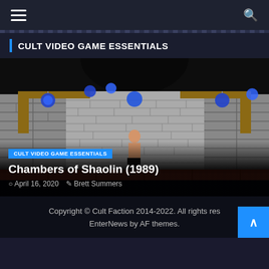≡  🔍
CULT VIDEO GAME ESSENTIALS
[Figure (screenshot): Screenshot from Chambers of Shaolin (1989) video game showing a fighter standing on a wooden platform in front of a stone brick wall with blue orbs and wooden crossbeams in a dungeon setting.]
CULT VIDEO GAME ESSENTIALS
Chambers of Shaolin (1989)
April 16, 2020  Brett Summers
Copyright © Cult Faction 2014-2022. All rights reserved. EnterNews by AF themes.